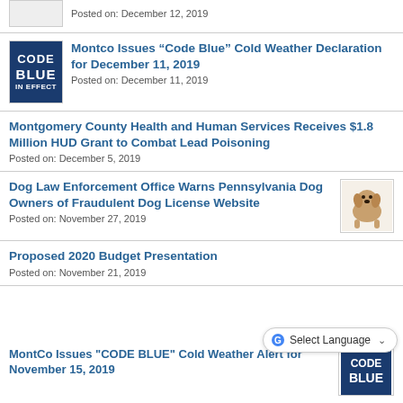Posted on: December 12, 2019
Montco Issues “Code Blue” Cold Weather Declaration for December 11, 2019
Posted on: December 11, 2019
Montgomery County Health and Human Services Receives $1.8 Million HUD Grant to Combat Lead Poisoning
Posted on: December 5, 2019
Dog Law Enforcement Office Warns Pennsylvania Dog Owners of Fraudulent Dog License Website
Posted on: November 27, 2019
Proposed 2020 Budget Presentation
Posted on: November 21, 2019
MontCo Issues "CODE BLUE" Cold Weather Alert for November 15, 2019